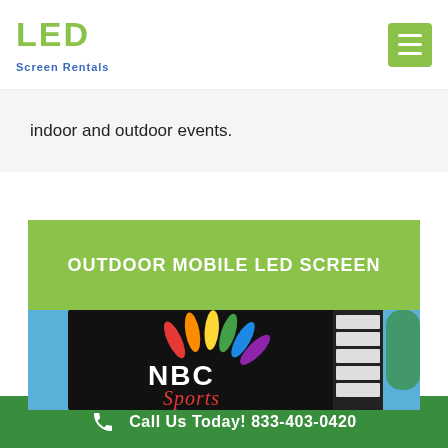LED Screen Rentals
indoor and outdoor events.
OUTDOOR MOBILE LED SCREEN
[Figure (photo): Outdoor LED screen displaying NBC Sports logo against blue sky, with sponsor banners on the side structure.]
Call Us Today! 833-403-0420